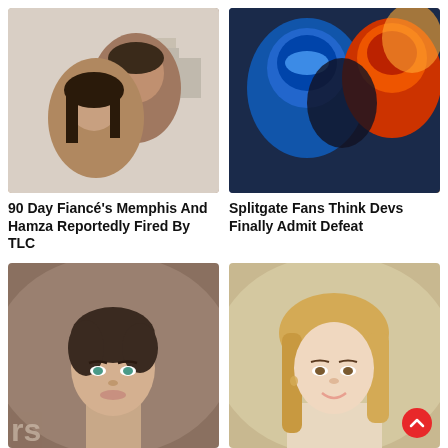[Figure (photo): Couple selfie photo - man and woman smiling together, outdoor setting with buildings in background]
[Figure (photo): Video game robots/mechs - blue and red armored characters clashing (Splitgate)]
90 Day Fiancé's Memphis And Hamza Reportedly Fired By TLC
Splitgate Fans Think Devs Finally Admit Defeat
[Figure (photo): Young dark-haired woman with blue-green eyes, elegant updo hairstyle, wearing makeup]
[Figure (photo): Blonde woman smiling, portrait photo, wearing earrings]